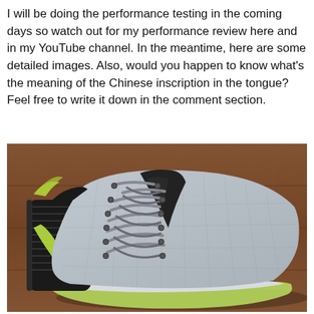I will be doing the performance testing in the coming days so watch out for my performance review here and in my YouTube channel. In the meantime, here are some detailed images. Also, would you happen to know what's the meaning of the Chinese inscription in the tongue? Feel free to write it down in the comment section.
[Figure (photo): Close-up photo of a basketball shoe with grey mesh upper, grey and black laces, green-yellow accents on the midsole and heel, and a translucent green-yellow outsole, placed on a wooden floor.]